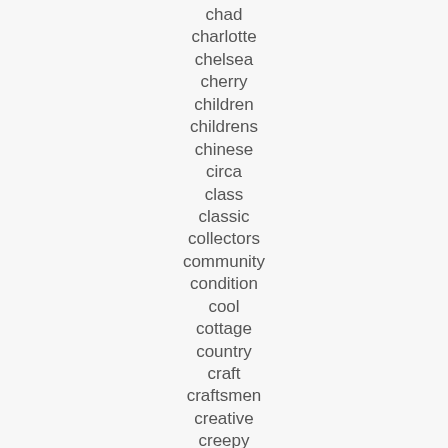chad
charlotte
chelsea
cherry
children
childrens
chinese
circa
class
classic
collectors
community
condition
cool
cottage
country
craft
craftsmen
creative
creepy
crushing